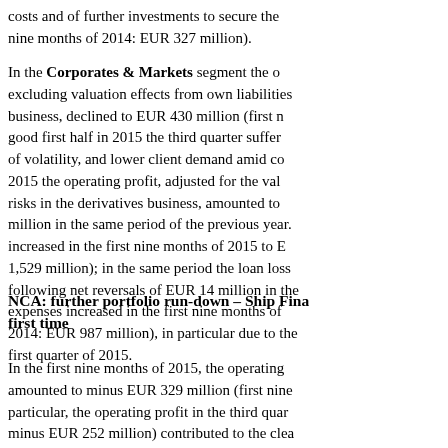costs and of further investments to secure the nine months of 2014: EUR 327 million).
In the Corporates & Markets segment the operating profit, excluding valuation effects from own liabilities business, declined to EUR 430 million (first nine months good first half in 2015 the third quarter suffered from a period of volatility, and lower client demand amid continued 2015 the operating profit, adjusted for the valuation of risks in the derivatives business, amounted to million in the same period of the previous year. Net revenues increased in the first nine months of 2015 to EUR 1,529 million); in the same period the loan loss provisions following net reversals of EUR 14 million in the expenses increased in the first nine months of 2014: EUR 987 million), in particular due to the first quarter of 2015.
NCA: further portfolio run-down – Ship Finance for the first time
In the first nine months of 2015, the operating profit amounted to minus EUR 329 million (first nine months particular, the operating profit in the third quarter minus EUR 252 million) contributed to the clearing of loan loss provisions in the first nine months of 2015.